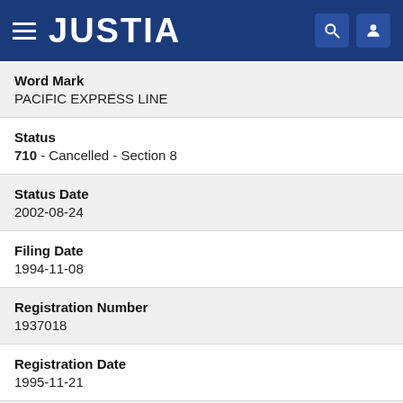JUSTIA
Word Mark
PACIFIC EXPRESS LINE
Status
710 - Cancelled - Section 8
Status Date
2002-08-24
Filing Date
1994-11-08
Registration Number
1937018
Registration Date
1995-11-21